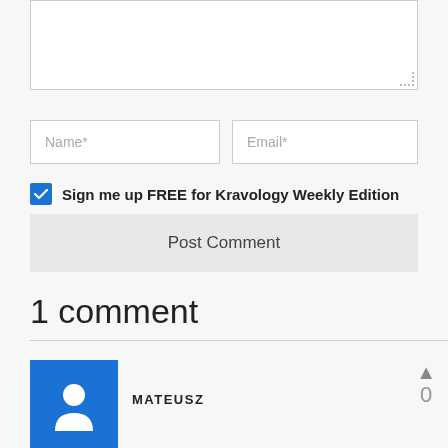[Figure (screenshot): Textarea input field for comment with resize handle at bottom-right]
Name*
Email*
Sign me up FREE for Kravology Weekly Edition
Post Comment
1 comment
MATEUSZ